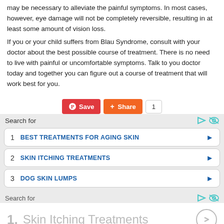may be necessary to alleviate the painful symptoms. In most cases, however, eye damage will not be completely reversible, resulting in at least some amount of vision loss.
If you or your child suffers from Blau Syndrome, consult with your doctor about the best possible course of treatment. There is no need to live with painful or uncomfortable symptoms. Talk to you doctor today and together you can figure out a course of treatment that will work best for you.
[Figure (screenshot): Social sharing buttons: Pinterest Save button (red), Share button (orange), and a count box showing '1']
[Figure (screenshot): Search ad widget with header 'Search for' and three rows: 1 BEST TREATMENTS FOR AGING SKIN, 2 SKIN ITCHING TREATMENTS, 3 DOG SKIN LUMPS]
[Figure (screenshot): Search ad widget bottom row showing '1. Skin Itching Treatments' in gray with a circle arrow icon]